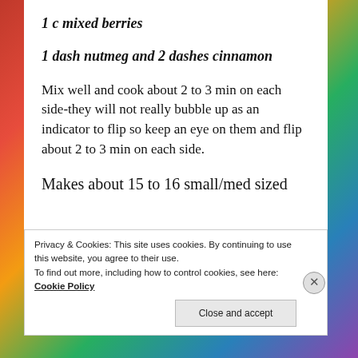1 c mixed berries
1 dash nutmeg and 2 dashes cinnamon
Mix well and cook about 2 to 3 min on each side-they will not really bubble up as an indicator to flip so keep an eye on them and flip about 2 to 3 min on each side.
Makes about 15 to 16 small/med sized
Privacy & Cookies: This site uses cookies. By continuing to use this website, you agree to their use.
To find out more, including how to control cookies, see here: Cookie Policy